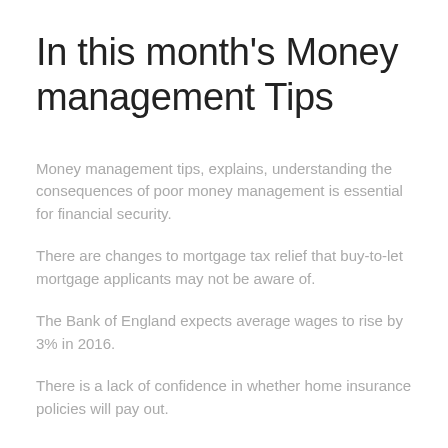In this month's Money management Tips
Money management tips, explains, understanding the consequences of poor money management is essential for financial security.
There are changes to mortgage tax relief that buy-to-let mortgage applicants may not be aware of.
The Bank of England expects average wages to rise by 3% in 2016.
There is a lack of confidence in whether home insurance policies will pay out.